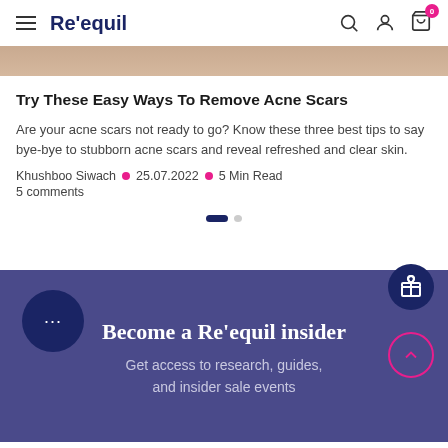Re'equil
[Figure (photo): Hero image strip showing skin tone background]
Try These Easy Ways To Remove Acne Scars
Are your acne scars not ready to go? Know these three best tips to say bye-bye to stubborn acne scars and reveal refreshed and clear skin.
Khushboo Siwach • 25.07.2022 • 5 Min Read
5 comments
Become a Re'equil insider
Get access to research, guides, and insider sale events